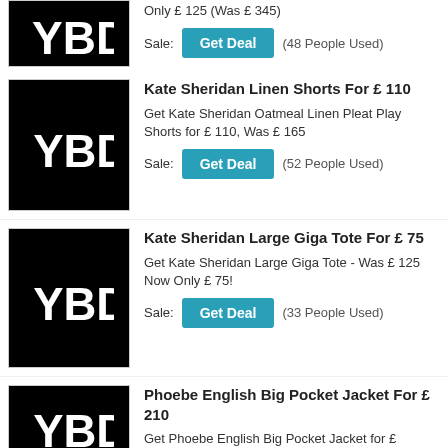[Figure (logo): YBD logo - white letters on black background, partial view at top]
Only £ 125 (Was £ 345)
Sale: Get Deal (48 People Used)
[Figure (logo): YBD logo - white letters on black background]
Kate Sheridan Linen Shorts For £ 110
Get Kate Sheridan Oatmeal Linen Pleat Play Shorts for £ 110, Was £ 165
Sale: Get Deal (52 People Used)
[Figure (logo): YBD logo - white letters on black background]
Kate Sheridan Large Giga Tote For £ 75
Get Kate Sheridan Large Giga Tote - Was £ 125 Now Only £ 75!
Sale: Get Deal (33 People Used)
[Figure (logo): YBD logo - white letters on black background, partial view at bottom]
Phoebe English Big Pocket Jacket For £ 210
Get Phoebe English Big Pocket Jacket for £